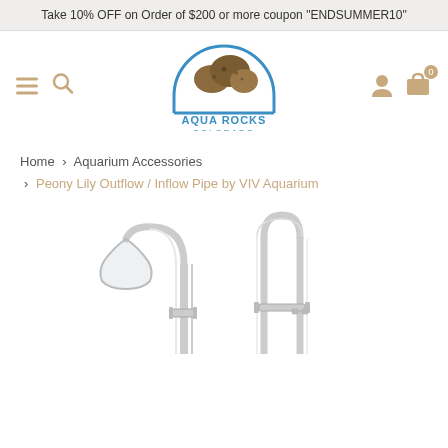Take 10% OFF on Order of $200 or more coupon "ENDSUMMER10"
[Figure (logo): Aqua Rocks Colorado logo — a blue half-circle aquarium shape with brown rocks/coral above it and the text AQUA ROCKS COLORADO in blue]
Home > Aquarium Accessories > Peony Lily Outflow / Inflow Pipe by VIV Aquarium
[Figure (photo): Glass aquarium lily pipe set — a curved outflow pipe with a flared opening on the left, and a straight inflow pipe with a U-bend on the right. Both are clear glass on a white background.]